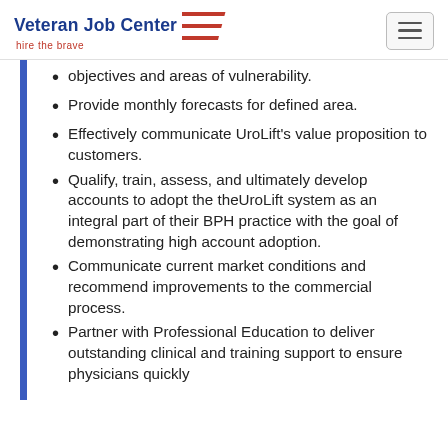Veteran Job Center — hire the brave
objectives and areas of vulnerability.
Provide monthly forecasts for defined area.
Effectively communicate UroLift's value proposition to customers.
Qualify, train, assess, and ultimately develop accounts to adopt the theUroLift system as an integral part of their BPH practice with the goal of demonstrating high account adoption.
Communicate current market conditions and recommend improvements to the commercial process.
Partner with Professional Education to deliver outstanding clinical and training support to ensure physicians quickly